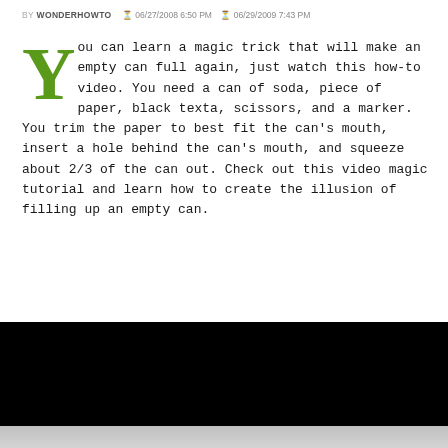BY WONDERHOWTO  06/27/2008 6:50 PM  C 06/29/2009 7:43 PM
You can learn a magic trick that will make an empty can full again, just watch this how-to video. You need a can of soda, piece of paper, black texta, scissors, and a marker. You trim the paper to best fit the can's mouth, insert a hole behind the can's mouth, and squeeze about 2/3 of the can out. Check out this video magic tutorial and learn how to create the illusion of filling up an empty can.
[Figure (other): Gray advertisement placeholder box]
[Figure (other): Black video player area]